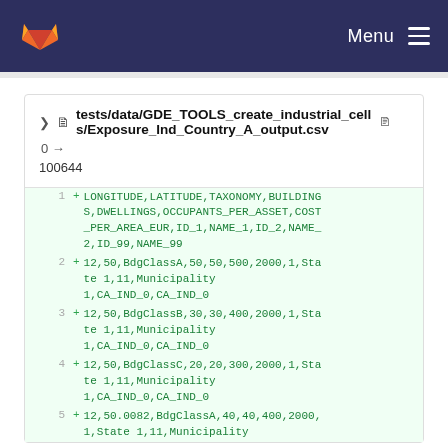GitLab navigation bar with logo and Menu
tests/data/GDE_TOOLS_create_industrial_cells/Exposure_Ind_Country_A_output.csv  0 → 100644
1  + LONGITUDE,LATITUDE,TAXONOMY,BUILDINGS,DWELLINGS,OCCUPANTS_PER_ASSET,COST_PER_AREA_EUR,ID_1,NAME_1,ID_2,NAME_2,ID_99,NAME_99
2  + 12,50,BdgClassA,50,50,500,2000,1,State 1,11,Municipality 1,CA_IND_0,CA_IND_0
3  + 12,50,BdgClassB,30,30,400,2000,1,State 1,11,Municipality 1,CA_IND_0,CA_IND_0
4  + 12,50,BdgClassC,20,20,300,2000,1,State 1,11,Municipality 1,CA_IND_0,CA_IND_0
5  + 12,50.0082,BdgClassA,40,40,400,2000,1,State 1,11,Municipality